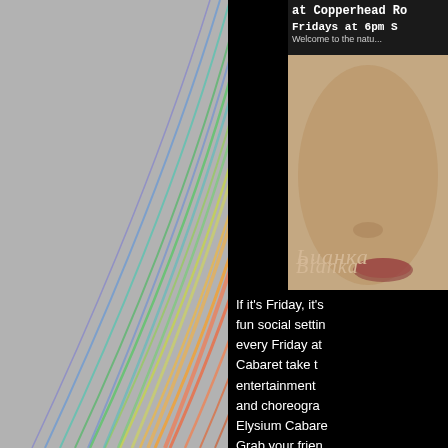[Figure (photo): Left panel with grey background and colorful swirling light streaks (rainbow colored arcs in red, orange, green, blue) over a grey background]
[Figure (screenshot): Top right panel showing a woman's face (close-up, warm skin tones) with text overlay reading 'at Copperhead Ro...' 'Fridays at 6pm S...' 'Welcome to the natur...' and a script signature reading 'Bianka']
If it's Friday, it's fun social setti... every Friday at Cabaret take t entertainment and choreogra Elysium Cabare Grab your frien Come celebrat We also offer a Saturday of eve make it to our This week's line